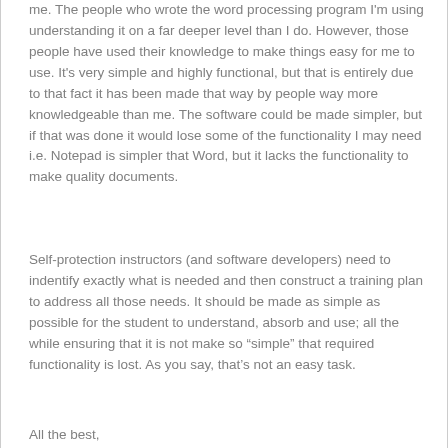me. The people who wrote the word processing program I'm using understanding it on a far deeper level than I do. However, those people have used their knowledge to make things easy for me to use. It's very simple and highly functional, but that is entirely due to that fact it has been made that way by people way more knowledgeable than me. The software could be made simpler, but if that was done it would lose some of the functionality I may need i.e. Notepad is simpler that Word, but it lacks the functionality to make quality documents.
Self-protection instructors (and software developers) need to indentify exactly what is needed and then construct a training plan to address all those needs. It should be made as simple as possible for the student to understand, absorb and use; all the while ensuring that it is not make so “simple” that required functionality is lost. As you say, that’s not an easy task.
All the best,